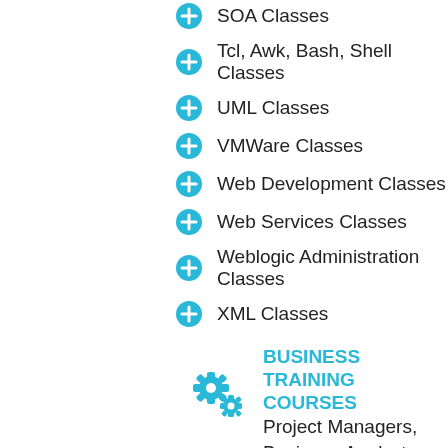SOA Classes
Tcl, Awk, Bash, Shell Classes
UML Classes
VMWare Classes
Web Development Classes
Web Services Classes
Weblogic Administration Classes
XML Classes
[Figure (illustration): Two cyan gear icons representing business training]
BUSINESS TRAINING COURSES
Project Managers, Business Analysts, Paralegals ... Welcome!
Business Analysis Classes
IT Infrastructure Library Classes